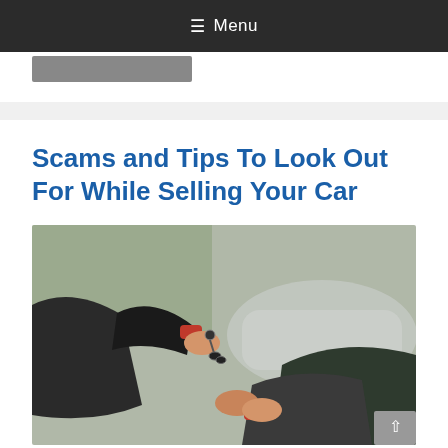≡ Menu
Scams and Tips To Look Out For While Selling Your Car
[Figure (photo): Two people shaking hands while one passes car keys to the other, with a car visible in the blurred background.]